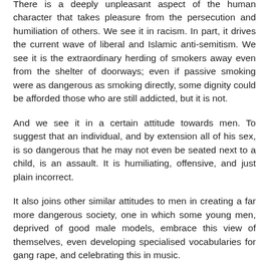There is a deeply unpleasant aspect of the human character that takes pleasure from the persecution and humiliation of others. We see it in racism. In part, it drives the current wave of liberal and Islamic anti-semitism. We see it is the extraordinary herding of smokers away even from the shelter of doorways; even if passive smoking were as dangerous as smoking directly, some dignity could be afforded those who are still addicted, but it is not.
And we see it in a certain attitude towards men. To suggest that an individual, and by extension all of his sex, is so dangerous that he may not even be seated next to a child, is an assault. It is humiliating, offensive, and just plain incorrect.
It also joins other similar attitudes to men in creating a far more dangerous society, one in which some young men, deprived of good male models, embrace this view of themselves, even developing specialised vocabularies for gang rape, and celebrating this in music.
It also closes the circle, joining the extreme ends, where left wing feminists and hard-line sexist religious elements...